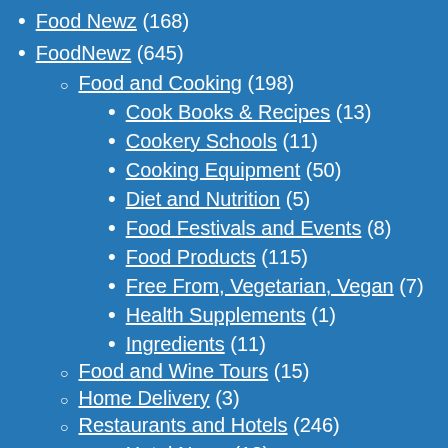Food Newz (168)
FoodNewz (645)
Food and Cooking (198)
Cook Books & Recipes (13)
Cookery Schools (11)
Cooking Equipment (50)
Diet and Nutrition (5)
Food Festivals and Events (8)
Food Products (115)
Free From, Vegetarian, Vegan (7)
Health Supplements (1)
Ingredients (11)
Food and Wine Tours (15)
Home Delivery (3)
Restaurants and Hotels (246)
Hotel News (13)
Restaurant News (30)